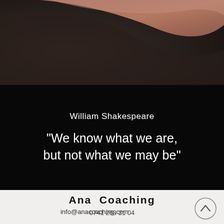[Figure (illustration): Abstract decorative background with warm brown and mauve gradient curves on a dark background, occupying the top portion of the page.]
William Shakespeare
“We know what we are, but not what we may be”
Ana  Coaching
info@anacoaching.com
0741 203 21 04